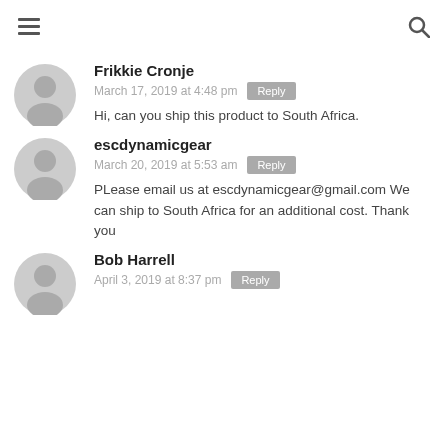≡  🔍
Frikkie Cronje
March 17, 2019 at 4:48 pm
Hi, can you ship this product to South Africa.
escdynamicgear
March 20, 2019 at 5:53 am
PLease email us at escdynamicgear@gmail.com We can ship to South Africa for an additional cost. Thank you
Bob Harrell
April 3, 2019 at 8:37 pm